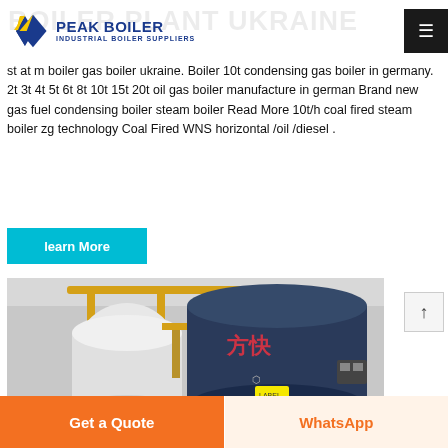PEAK BOILER – industrial boiler suppliers
BOILER PLANT UKRAINE
st at m boiler gas boiler ukraine. Boiler 10t condensing gas boiler in germany. 2t 3t 4t 5t 6t 8t 10t 15t 20t oil gas boiler manufacture in german Brand new gas fuel condensing boiler steam boiler Read More 10t/h coal fired steam boiler zg technology Coal Fired WNS horizontal /oil /diesel .
learn More
[Figure (photo): Industrial gas boilers in a facility – showing cylindrical boilers with yellow piping and Chinese text on the large blue boiler tank]
Get a Quote
WhatsApp